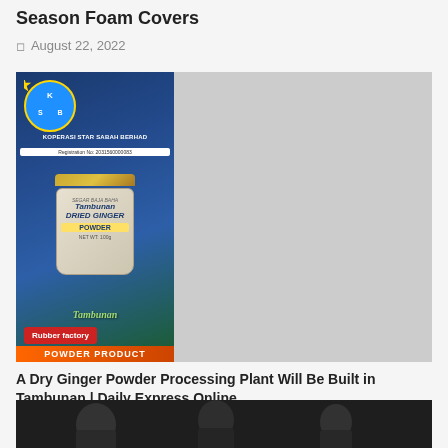Season Foam Covers
August 22, 2022
[Figure (photo): Left side: Koperasi Star Sabah Berhad product poster with Tambunan Dried Ginger Powder jar, 'Rubber factory' red button, and 'POWDER PRODUCT' text. Right side: Group of four smiling men holding up small jars/products, with colorful banner in background.]
A Dry Ginger Powder Processing Plant Will Be Built in Tambunan | Daily Express Online
August 22, 2022
[Figure (photo): Dark photo partially visible at bottom of page showing people.]